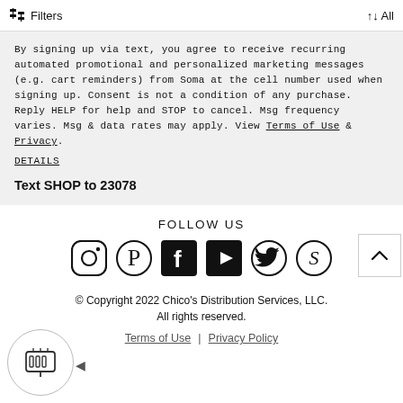Filters   ↑↓ All
By signing up via text, you agree to receive recurring automated promotional and personalized marketing messages (e.g. cart reminders) from Soma at the cell number used when signing up. Consent is not a condition of any purchase. Reply HELP for help and STOP to cancel. Msg frequency varies. Msg & data rates may apply. View Terms of Use & Privacy.
DETAILS
Text SHOP to 23078
FOLLOW US
[Figure (other): Social media icons: Instagram, Pinterest, Facebook, YouTube, Twitter, and a scripted S logo]
© Copyright 2022 Chico's Distribution Services, LLC. All rights reserved.
Terms of Use | Privacy Policy